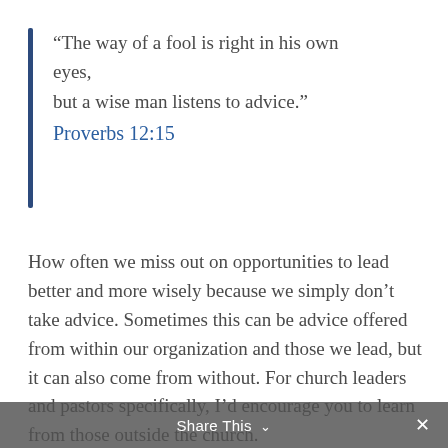“The way of a fool is right in his own eyes, but a wise man listens to advice.” Proverbs 12:15
How often we miss out on opportunities to lead better and more wisely because we simply don’t take advice. Sometimes this can be advice offered from within our organization and those we lead, but it can also come from without. For church leaders and pastors specifically, I’d encourage you to learn from those outside the church.
Share This ⌄ ×